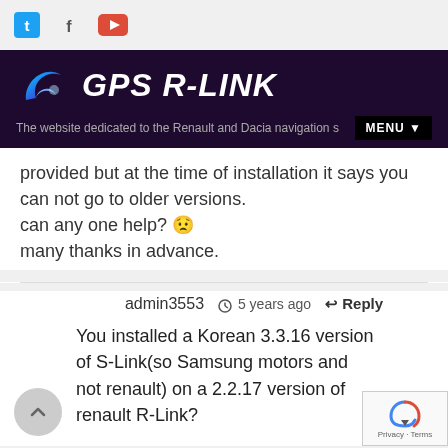GPS R-LINK — The website dedicated to the Renault and Dacia navigation s… MENU
provided but at the time of installation it says you can not go to older versions.
can any one help? 😟
many thanks in advance.
admin3553   🕐 5 years ago   ↩ Reply
You installed a Korean 3.3.16 version of S-Link(so Samsung motors and not renault) on a 2.2.17 version of renault R-Link?